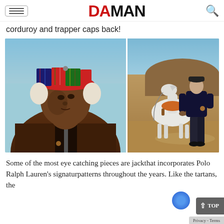DA MAN
corduroy and trapper caps back!
[Figure (photo): Two fashion editorial photos side by side: left shows a close-up of a Black man wearing a colorful patchwork tartan trapper cap and brown corduroy jacket; right shows a man in black Polo Ralph Lauren sweater standing next to a white horse in a desert landscape.]
Some of the most eye catching pieces are jack that incorporates Polo Ralph Lauren's signatur patterns throughout the years. Like the tartans, the